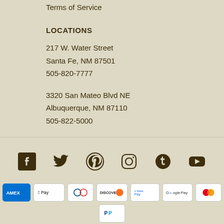Terms of Service
LOCATIONS
217 W. Water Street
Santa Fe, NM 87501
505-820-7777
3320 San Mateo Blvd NE
Albuquerque, NM 87110
505-822-5000
[Figure (infographic): Social media icons row: Facebook, Twitter, Pinterest, Instagram, Tumblr, YouTube]
[Figure (infographic): Payment method icons: American Express, Apple Pay, Diners Club, Discover, Meta Pay, Google Pay, Mastercard, PayPal, and more]